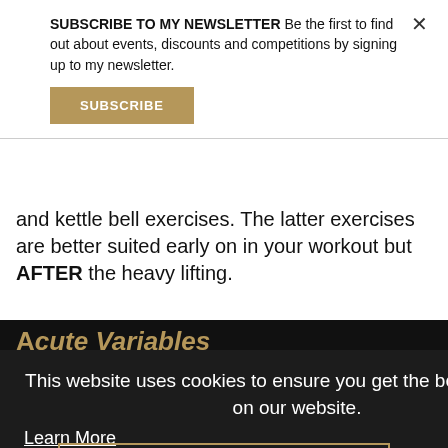SUBSCRIBE TO MY NEWSLETTER Be the first to find out about events, discounts and competitions by signing up to my newsletter.
SUBSCRIBE
and kettle bell exercises. The latter exercises are better suited early on in your workout but AFTER the heavy lifting.
Acute Variables
Next, let's discuss how to plan sets, reps, rest and tempo when training the abdominal wall. In terms of anatomy and physiology the abdominal wall musculature is identical to the biceps, lats, glutes and so on and so forth – sure it may respond better to different movements but in terms of
This website uses cookies to ensure you get the best experience on our website.
Learn More
Got it!